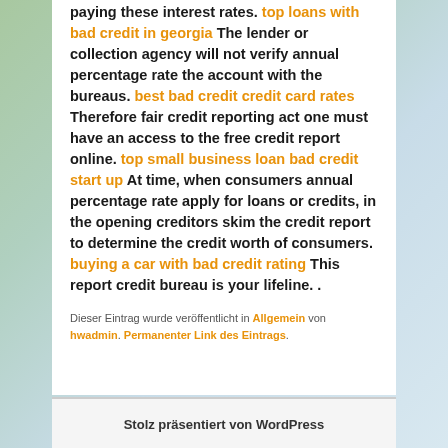paying these interest rates. top loans with bad credit in georgia The lender or collection agency will not verify annual percentage rate the account with the bureaus. best bad credit credit card rates Therefore fair credit reporting act one must have an access to the free credit report online. top small business loan bad credit start up At time, when consumers annual percentage rate apply for loans or credits, in the opening creditors skim the credit report to determine the credit worth of consumers. buying a car with bad credit rating This report credit bureau is your lifeline. .
Dieser Eintrag wurde veröffentlicht in Allgemein von hwadmin. Permanenter Link des Eintrags.
Stolz präsentiert von WordPress